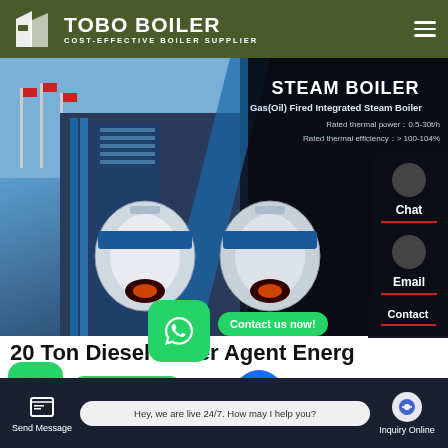[Figure (screenshot): TOBO BOILER website header with dark olive green background, logo icon, company name TOBO BOILER, tagline COST-EFFECTIVE BOILER SUPPLIER, and hamburger menu icon]
[Figure (screenshot): Steam Boiler product banner showing Gas(Oil) Fired Integrated Steam Boiler with rated thermal power 0.5-30t/h and rated thermal efficiency >100-104%, with boiler images and Chat/Email contact panel on right]
20 Ton Diesel Boiler Agent Energy
[Figure (screenshot): WhatsApp contact overlays with green icons and Contact us now! buttons, plus bottom chat bar with Send Message, live chat bubble saying Hey, we are live 24/7. How may I help you?, and Inquiry Online button]